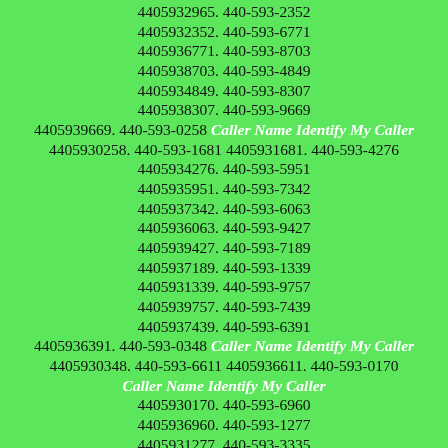4405932965. 440-593-2352 4405932352. 440-593-6771 4405936771. 440-593-8703 4405938703. 440-593-4849 4405934849. 440-593-8307 4405938307. 440-593-9669 4405939669. 440-593-0258 Caller Name Identify My Caller 4405930258. 440-593-1681 4405931681. 440-593-4276 4405934276. 440-593-5951 4405935951. 440-593-7342 4405937342. 440-593-6063 4405936063. 440-593-9427 4405939427. 440-593-7189 4405937189. 440-593-1339 4405931339. 440-593-9757 4405939757. 440-593-7439 4405937439. 440-593-6391 4405936391. 440-593-0348 Caller Name Identify My Caller 4405930348. 440-593-6611 4405936611. 440-593-0170 Caller Name Identify My Caller 4405930170. 440-593-6960 4405936960. 440-593-1277 4405931277. 440-593-3335 4405933335. 440-593-7332